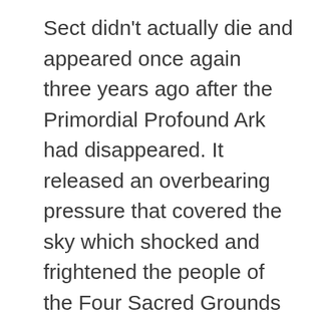Sect didn't actually die and appeared once again three years ago after the Primordial Profound Ark had disappeared. It released an overbearing pressure that covered the sky which shocked and frightened the people of the Four Sacred Grounds and punished Ye Xinghan.

What happened? Feng Xue'er